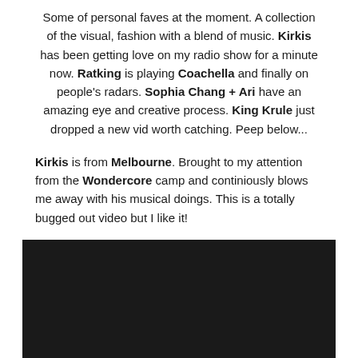Some of personal faves at the moment. A collection of the visual, fashion with a blend of music. Kirkis has been getting love on my radio show for a minute now. Ratking is playing Coachella and finally on people's radars. Sophia Chang + Ari have an amazing eye and creative process. King Krule just dropped a new vid worth catching. Peep below...
Kirkis is from Melbourne. Brought to my attention from the Wondercore camp and continiously blows me away with his musical doings. This is a totally bugged out video but I like it!
[Figure (other): Embedded black video player rectangle]